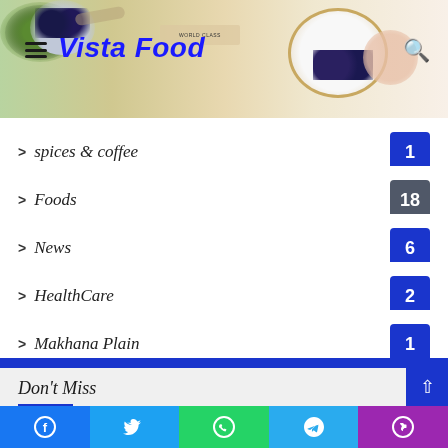[Figure (screenshot): Vista Food website header with logo text and food photo background showing blueberries and plate]
> spices & coffee  1
> Foods  18
> News  6
> HealthCare  2
> Makhana Plain  1
Don't Miss
[Figure (photo): Dark blue background with two white/light colored bottles at bottom]
[Figure (screenshot): Social media share bar with Facebook, Twitter, WhatsApp, Telegram, Phone buttons]